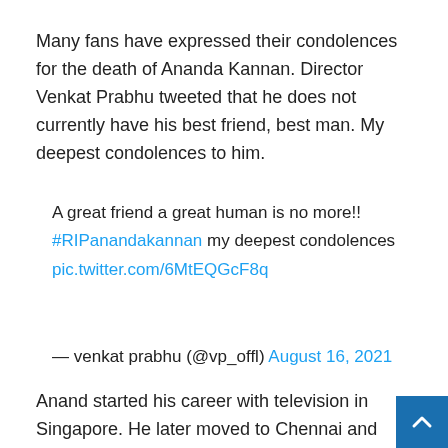Many fans have expressed their condolences for the death of Ananda Kannan. Director Venkat Prabhu tweeted that he does not currently have his best friend, best man. My deepest condolences to him.
A great friend a great human is no more!! #RIPanandakannan my deepest condolences pic.twitter.com/6MtEQGcF8q
— venkat prabhu (@vp_offl) August 16, 2021
Anand started his career with television in Singapore. He later moved to Chennai and joined Sun Music as a video jockey. Some of his popular shows include Sindubad and Savala Singapore.